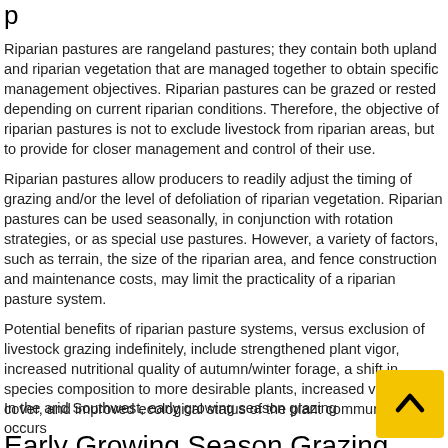p
Riparian pastures are rangeland pastures; they contain both upland and riparian vegetation that are managed together to obtain specific management objectives. Riparian pastures can be grazed or rested depending on current riparian conditions. Therefore, the objective of riparian pastures is not to exclude livestock from riparian areas, but to provide for closer management and control of their use.
Riparian pastures allow producers to readily adjust the timing of grazing and/or the level of defoliation of riparian vegetation. Riparian pastures can be used seasonally, in conjunction with rotation strategies, or as special use pastures. However, a variety of factors, such as terrain, the size of the riparian area, and fence construction and maintenance costs, may limit the practicality of a riparian pasture system.
Potential benefits of riparian pasture systems, versus exclusion of livestock grazing indefinitely, include strengthened plant vigor, increased nutritional quality of autumn/winter forage, a shift in species composition to more desirable plants, increased vegetative cover, and improved ecological status of the plant community.
Early Growing Season Grazing
In the arid Southwest, early growing season grazing occurs